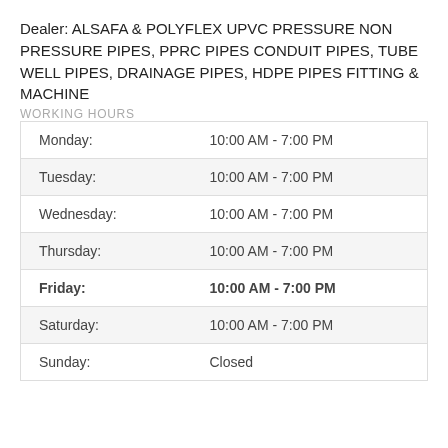Dealer: ALSAFA & POLYFLEX UPVC PRESSURE NON PRESSURE PIPES, PPRC PIPES CONDUIT PIPES, TUBE WELL PIPES, DRAINAGE PIPES, HDPE PIPES FITTING & MACHINE
WORKING HOURS
| Monday: | 10:00 AM - 7:00 PM |
| Tuesday: | 10:00 AM - 7:00 PM |
| Wednesday: | 10:00 AM - 7:00 PM |
| Thursday: | 10:00 AM - 7:00 PM |
| Friday: | 10:00 AM - 7:00 PM |
| Saturday: | 10:00 AM - 7:00 PM |
| Sunday: | Closed |